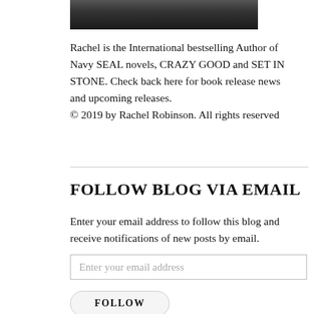[Figure (photo): Black and white partial photo of a person (author Rachel Robinson), cropped at top]
Rachel is the International bestselling Author of Navy SEAL novels, CRAZY GOOD and SET IN STONE. Check back here for book release news and upcoming releases.
© 2019 by Rachel Robinson. All rights reserved
FOLLOW BLOG VIA EMAIL
Enter your email address to follow this blog and receive notifications of new posts by email.
Enter your email address
FOLLOW